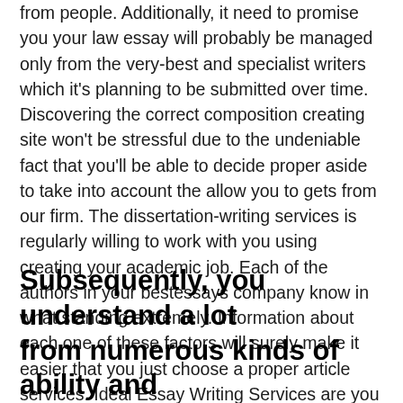from people. Additionally, it need to promise you your law essay will probably be managed only from the very-best and specialist writers which it's planning to be submitted over time. Discovering the correct composition creating site won't be stressful due to the undeniable fact that you'll be able to decide proper aside to take into account the allow you to gets from our firm. The dissertation-writing services is regularly willing to work with you using creating your academic job. Each of the authors in your bestessays company know in what standing extremely. Information about each one of these factors will surely make it easier that you just choose a proper article services. Ideal Essay Writing Services are you currently're the rest. Here is the fundamental requirements to think about although choosing the reputable personalized creating services. CheapEssayWritingService.us may be the chosen variety of numerous students.
Subsequently, you understand a lot from numerous kinds of ability and